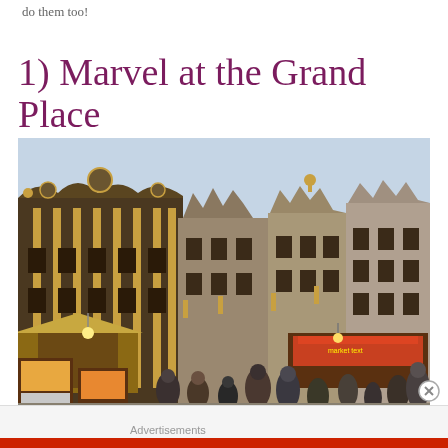do them too!
1) Marvel at the Grand Place
[Figure (photo): Photo of the Grand Place in Brussels showing ornate Gothic and Baroque guild houses with golden decorations, a crowded market with art stalls and paintings displayed on wooden boards, people browsing, and a light-filled Christmas market atmosphere under a cloudy sky.]
Advertisements